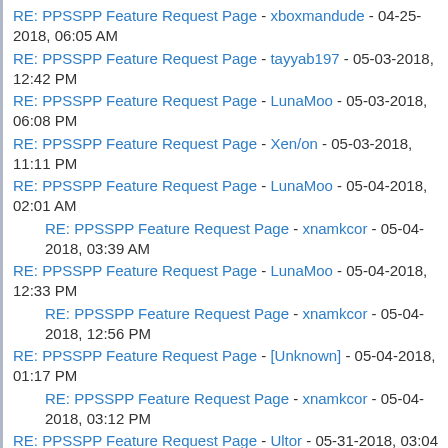RE: PPSSPP Feature Request Page - xboxmandude - 04-25-2018, 06:05 AM
RE: PPSSPP Feature Request Page - tayyab197 - 05-03-2018, 12:42 PM
RE: PPSSPP Feature Request Page - LunaMoo - 05-03-2018, 06:08 PM
RE: PPSSPP Feature Request Page - Xen/on - 05-03-2018, 11:11 PM
RE: PPSSPP Feature Request Page - LunaMoo - 05-04-2018, 02:01 AM
RE: PPSSPP Feature Request Page - xnamkcor - 05-04-2018, 03:39 AM
RE: PPSSPP Feature Request Page - LunaMoo - 05-04-2018, 12:33 PM
RE: PPSSPP Feature Request Page - xnamkcor - 05-04-2018, 12:56 PM
RE: PPSSPP Feature Request Page - [Unknown] - 05-04-2018, 01:17 PM
RE: PPSSPP Feature Request Page - xnamkcor - 05-04-2018, 03:12 PM
RE: PPSSPP Feature Request Page - Ultor - 05-31-2018, 03:04 PM
RE: PPSSPP Feature Request Page - LunaMoo - 05-31-2018, 04:53 PM
RE: PPSSPP Feature Request Page - I needs Help - 05-31-2018, 07:00 PM
RE: PPSSPP Feature Request Page - risky - 06-04-2018, 08:36 AM